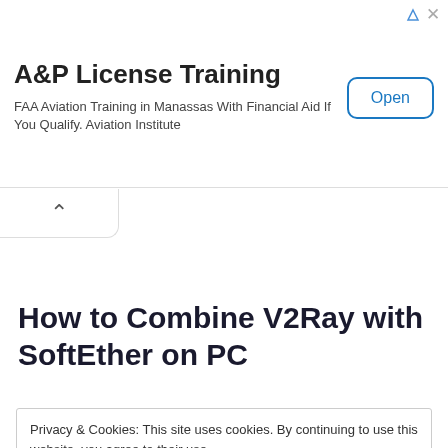[Figure (screenshot): Advertisement banner for A&P License Training. Title: 'A&P License Training'. Description: 'FAA Aviation Training in Manassas With Financial Aid If You Qualify. Aviation Institute'. Button: 'Open'. Ad icons top right.]
Privacy & Cookies: This site uses cookies. By continuing to use this website, you agree to their use.
To find out more, including how to control cookies, see here: Cookie Policy
How to Combine V2Ray with SoftEther on PC
How to Use Softether in Windows.